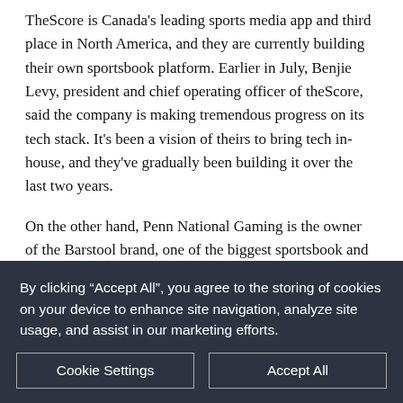TheScore is Canada's leading sports media app and third place in North America, and they are currently building their own sportsbook platform. Earlier in July, Benjie Levy, president and chief operating officer of theScore, said the company is making tremendous progress on its tech stack. It's been a vision of theirs to bring tech in-house, and they've gradually been building it over the last two years.
On the other hand, Penn National Gaming is the owner of the Barstool brand, one of the biggest sportsbook and online casino providers in the US. Combining Barstool with theScore sports assets and state-of-the-art technology will...
By clicking “Accept All”, you agree to the storing of cookies on your device to enhance site navigation, analyze site usage, and assist in our marketing efforts.